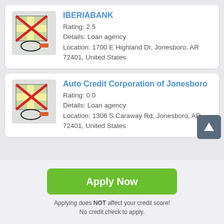[Figure (screenshot): Card listing for IBERIABANK with map icon (crossed out), rating 2.5, details Loan agency, location 1700 E Highland Dr, Jonesboro, AR 72401, United States]
IBERIABANK
Rating: 2.5
Details: Loan agency
Location: 1700 E Highland Dr, Jonesboro, AR 72401, United States
[Figure (screenshot): Card listing for Auto Credit Corporation of Jonesboro with map icon (crossed out), rating 0.0, details Loan agency, location 1306 S Caraway Rd, Jonesboro, AR 72401, United States]
Auto Credit Corporation of Jonesboro
Rating: 0.0
Details: Loan agency
Location: 1306 S Caraway Rd, Jonesboro, AR 72401, United States
Apply Now
Applying does NOT affect your credit score!
No credit check to apply.